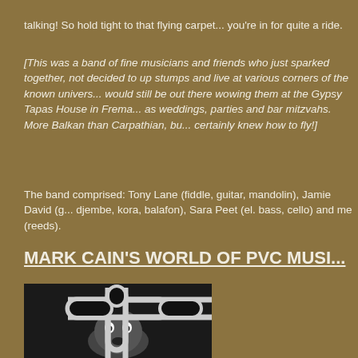talking! So hold tight to that flying carpet... you're in for quite a ride.
[This was a band of fine musicians and friends who just sparked together, not decided to up stumps and live at various corners of the known universe, would still be out there wowing them at the Gypsy Tapas House in Frema... as weddings, parties and bar mitzvahs. More Balkan than Carpathian, bu... certainly knew how to fly!]
The band comprised: Tony Lane (fiddle, guitar, mandolin), Jamie David (g... djembe, kora, balafon), Sara Peet (el. bass, cello) and me (reeds).
MARK CAIN'S WORLD OF PVC MUSI...
[Figure (photo): Black and white photo of a man holding or playing a PVC pipe instrument shaped like a cross/plus sign with rounded corners, looking at the camera with a surprised or excited expression.]